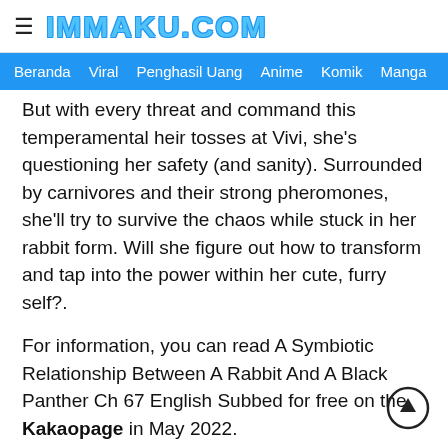≡ IMMAKU.COM
Beranda  Viral  Penghasil Uang  Anime  Komik  Manga
But with every threat and command this temperamental heir tosses at Vivi, she’s questioning her safety (and sanity). Surrounded by carnivores and their strong pheromones, she’ll try to survive the chaos while stuck in her rabbit form. Will she figure out how to transform and tap into the power within her cute, furry self?.
For information, you can read A Symbiotic Relationship Between A Rabbit And A Black Panther Ch 67 English Subbed for free on the Kakaopage in May 2022.
tutup
Read A Symbiotic Relationship Between A Rabbit And A Black Panther Chapter 67 English Kakaopage